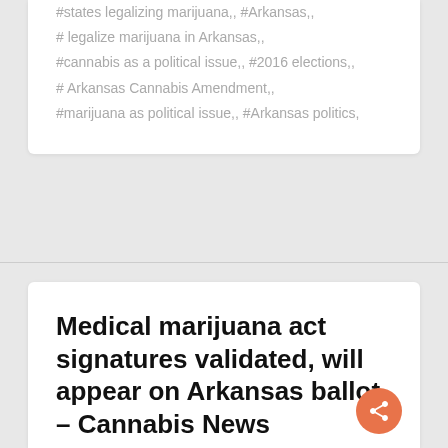#states legalizing marijuana,, #Arkansas,, # legalize marijuana in Arkansas,, #cannabis as a political issue,, #2016 elections,, # Arkansas Cannabis Amendment,, #marijuana as political issue,, #Arkansas politics,
Medical marijuana act signatures validated, will appear on Arkansas ballot – Cannabis News
THURSDAY, 07 JULY 2016   EDITOR IN CHIEF
NATIONAL ISSUES   FEATURED